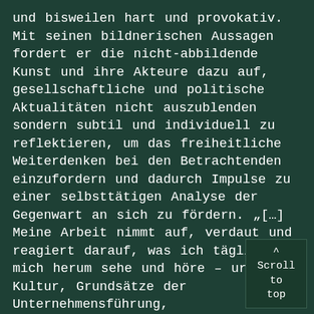und bisweilen hart und provokativ. Mit seinen bildnerischen Aussagen fordert er die nicht-abbildende Kunst und ihre Akteure dazu auf, gesellschaftliche und politische Aktualitäten nicht auszublenden sondern subtil und individuell zu reflektieren, um das freiheitliche Weiterdenken bei den Betrachtenden einzufordern und dadurch Impulse zu einer selbsttätigen Analyse der Gegenwart an sich zu fördern. „[…] Meine Arbeit nimmt auf, verdaut und reagiert darauf, was ich täglich um mich herum sehe und höre – urbane Kultur, Grundsätze der Unternehmensführung, Nachrichtenpropaganda, aussichtslose Kriege, religiöser Fundamentalismus, skrupelloser Materialismus und mehr. Mir geht es da um, das Thema der reduktiven Abstraktion von jedem möglichen Blickwinkel aus